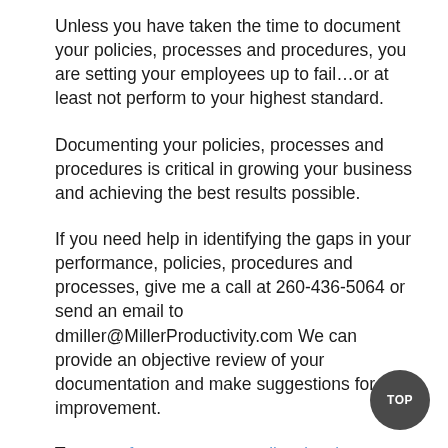Unless you have taken the time to document your policies, processes and procedures, you are setting your employees up to fail…or at least not perform to your highest standard.
Documenting your policies, processes and procedures is critical in growing your business and achieving the best results possible.
If you need help in identifying the gaps in your performance, policies, procedures and processes, give me a call at 260-436-5064 or send an email to dmiller@MillerProductivity.com We can provide an objective review of your documentation and make suggestions for improvement.
Tags: performance gaps, policy development, procedure documentation, process documentation